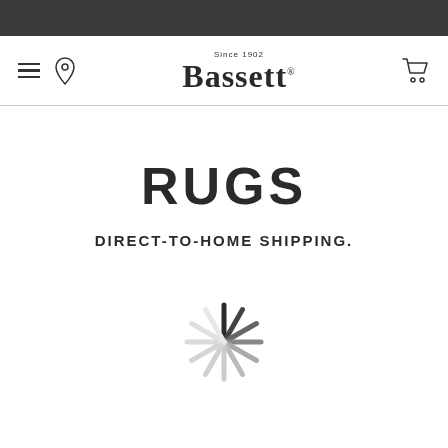[Figure (logo): Bassett furniture logo with 'Since 1902' text above in serif font, navigation bar with hamburger menu, location pin icon on the left, and shopping cart icon on the right]
RUGS
DIRECT-TO-HOME SHIPPING.
[Figure (other): Loading spinner animation — circular spinner with dark segments at top transitioning to light grey segments, indicating page loading state]